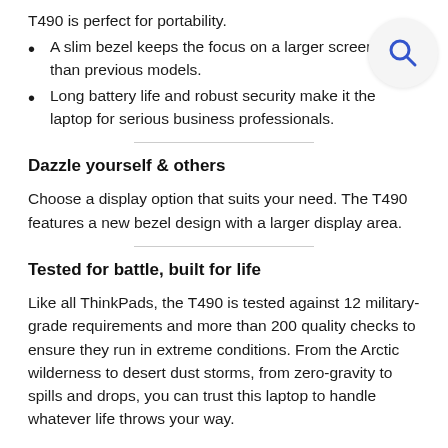A slim bezel keeps the focus on a larger screen area than previous models.
Long battery life and robust security make it the laptop for serious business professionals.
Dazzle yourself & others
Choose a display option that suits your need. The T490 features a new bezel design with a larger display area.
Tested for battle, built for life
Like all ThinkPads, the T490 is tested against 12 military-grade requirements and more than 200 quality checks to ensure they run in extreme conditions. From the Arctic wilderness to desert dust storms, from zero-gravity to spills and drops, you can trust this laptop to handle whatever life throws your way.